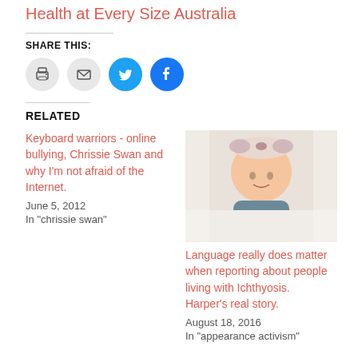Health at Every Size Australia
SHARE THIS:
[Figure (infographic): Four circular social sharing icons: print (grey), email (grey), Twitter (blue), Facebook (blue)]
RELATED
Keyboard warriors - online bullying, Chrissie Swan and why I'm not afraid of the Internet.
June 5, 2012
In "chrissie swan"
[Figure (photo): Photo of a smiling baby wearing a floral bow headband, seated in a white chair]
Language really does matter when reporting about people living with Ichthyosis. Harper's real story.
August 18, 2016
In "appearance activism"